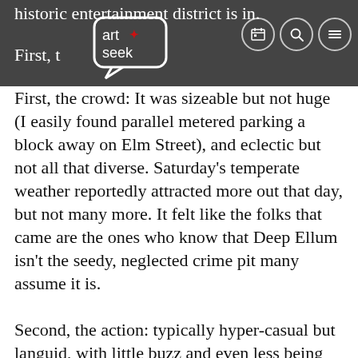historic entertainment district is in.
[Figure (logo): ArtSeek logo — white speech bubble with 'art+seek' text and a red star, on dark gray background]
First, the crowd: It was sizeable but not huge (I easily found parallel metered parking a block away on Elm Street), and eclectic but not all that diverse. Saturday's temperate weather reportedly attracted more out that day, but not many more. It felt like the folks that came are the ones who know that Deep Ellum isn't the seedy, neglected crime pit many assume it is.
Second, the action: typically hyper-casual but languid, with little buzz and even less being bought. With rare exception (The Backsliders – yummy boogie rock goodness),